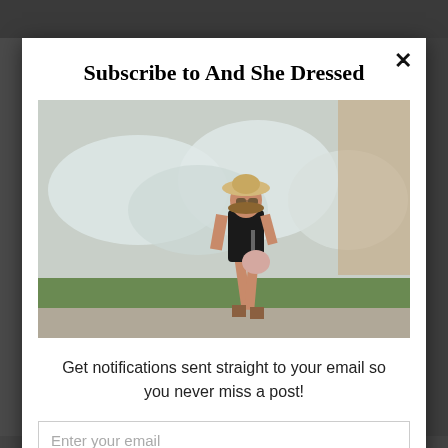Subscribe to And She Dressed
[Figure (photo): A young woman wearing a straw hat, sunglasses, and a black romper with lace-up heeled sandals, walking in front of a large graffiti-covered stone wall with green grass in the foreground.]
Get notifications sent straight to your email so you never miss a post!
Enter your email